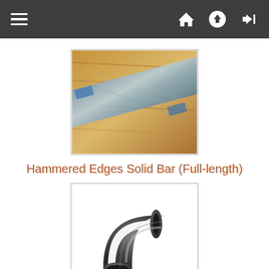Navigation bar with hamburger menu, home, upload, and login icons
[Figure (photo): Photo of hammered edges solid bar full-length metal bar with hammered/rough edge texture]
Hammered Edges Solid Bar (Full-length)
[Figure (photo): Photo of a black steel pipe elbow fitting (90-degree elbow)]
Pipe Fittings
[Figure (photo): Photo of a rectangular hollow section steel tube]